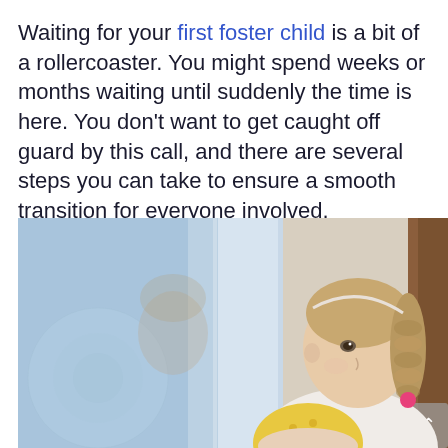Waiting for your first foster child is a bit of a rollercoaster. You might spend weeks or months waiting until suddenly the time is here. You don't want to get caught off guard by this call, and there are several steps you can take to ensure a smooth transition for everyone involved.
[Figure (photo): A young girl with braided hair and a headband looks upward while leaning against a glass window or door, her reflection visible in the glass. She appears contemplative. The background shows a blurred outdoor scene.]